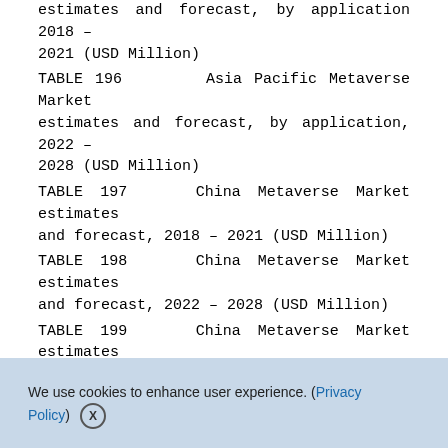estimates and forecast, by application 2018 – 2021 (USD Million)
TABLE 196    Asia Pacific Metaverse Market estimates and forecast, by application, 2022 – 2028 (USD Million)
TABLE 197    China Metaverse Market estimates and forecast, 2018 – 2021 (USD Million)
TABLE 198    China Metaverse Market estimates and forecast, 2022 – 2028 (USD Million)
TABLE 199    China Metaverse Market estimates and forecast, component, 2018 – 2021 (USD Million)
TABLE 200    China Metaverse Market estimates
We use cookies to enhance user experience. (Privacy Policy)  X